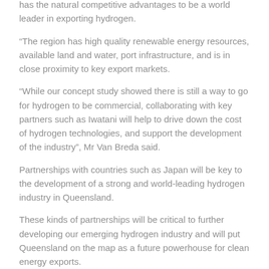has the natural competitive advantages to be a world leader in exporting hydrogen.
“The region has high quality renewable energy resources, available land and water, port infrastructure, and is in close proximity to key export markets.
“While our concept study showed there is still a way to go for hydrogen to be commercial, collaborating with key partners such as Iwatani will help to drive down the cost of hydrogen technologies, and support the development of the industry”, Mr Van Breda said.
Partnerships with countries such as Japan will be key to the development of a strong and world-leading hydrogen industry in Queensland.
These kinds of partnerships will be critical to further developing our emerging hydrogen industry and will put Queensland on the map as a future powerhouse for clean energy exports.